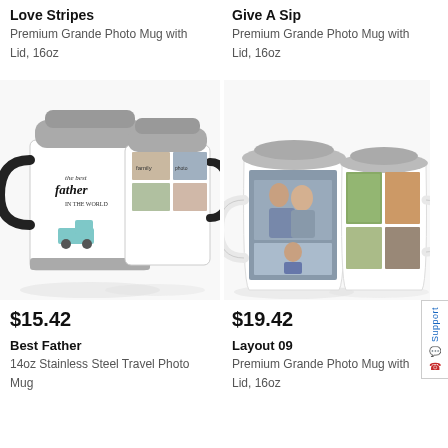Love Stripes
Premium Grande Photo Mug with Lid, 16oz
[Figure (photo): Two stainless steel travel mugs with black handles. Left mug reads 'the best father in the world' with a vintage teal truck. Right mug shows a family photo collage.]
Give A Sip
Premium Grande Photo Mug with Lid, 16oz
[Figure (photo): Two white ceramic mugs with light grey lids. Left mug shows a couple sitting together. Right mug shows a family photo collage.]
$15.42
Best Father
14oz Stainless Steel Travel Photo Mug
$19.42
Layout 09
Premium Grande Photo Mug with Lid, 16oz